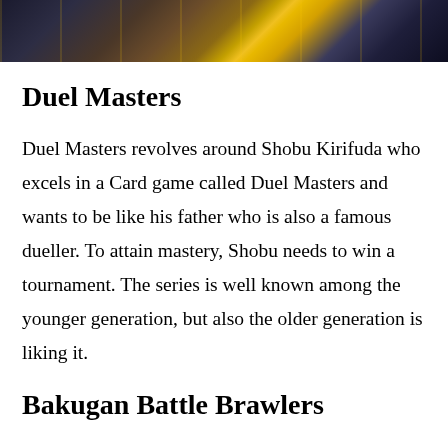[Figure (photo): A strip of trading cards with colorful anime/game artwork featuring characters with yellow borders visible at the top of the page]
Duel Masters
Duel Masters revolves around Shobu Kirifuda who excels in a Card game called Duel Masters and wants to be like his father who is also a famous dueller. To attain mastery, Shobu needs to win a tournament. The series is well known among the younger generation, but also the older generation is liking it.
Bakugan Battle Brawlers